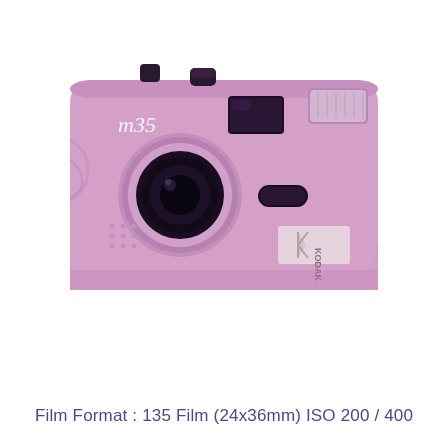[Figure (photo): A pink Kodak M35 35mm film camera viewed from the front, showing the lens, viewfinder window, flash unit, shutter button, and Kodak logo badge on the lower right.]
Film Format : 135 Film (24x36mm) ISO 200 / 400